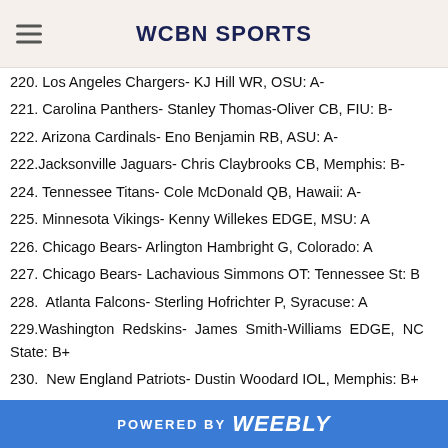WCBN SPORTS
220. Los Angeles Chargers- KJ Hill WR, OSU: A-
221. Carolina Panthers- Stanley Thomas-Oliver CB, FIU: B-
222. Arizona Cardinals- Eno Benjamin RB, ASU: A-
222.Jacksonville Jaguars- Chris Claybrooks CB, Memphis: B-
224. Tennessee Titans- Cole McDonald QB, Hawaii: A-
225. Minnesota Vikings- Kenny Willekes EDGE, MSU: A
226. Chicago Bears- Arlington Hambright G, Colorado: A
227. Chicago Bears- Lachavious Simmons OT: Tennessee St: B
228. Atlanta Falcons- Sterling Hofrichter P, Syracuse: A
229.Washington Redskins- James Smith-Williams EDGE, NC State: B+
230. New England Patriots- Dustin Woodard IOL, Memphis: B+
231. Dallas Cowboys- Ben DiNucci QB, James Madison: C
POWERED BY weebly